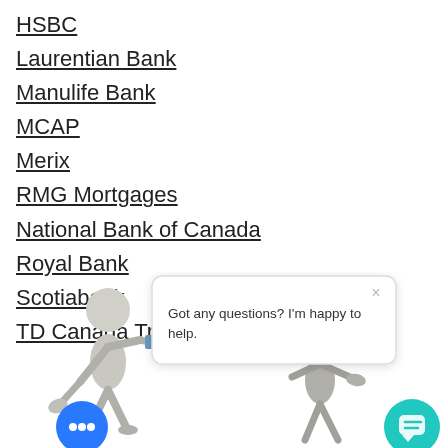HSBC
Laurentian Bank
Manulife Bank
MCAP
Merix
RMG Mortgages
National Bank of Canada
Royal Bank
Scotiabank
TD Canada Trust
[Figure (illustration): Two 3D white stick figures, one holding a megaphone, with a chat popup saying 'Got any questions? I'm happy to help.' and two chat bubble buttons (blue with dots and teal with chat icon).]